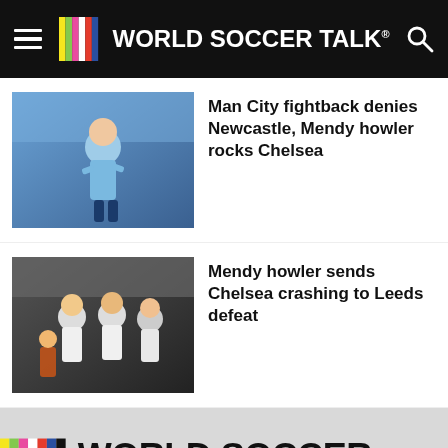WORLD SOCCER TALK®
[Figure (photo): Soccer player in light blue Man City kit celebrating]
Man City fightback denies Newcastle, Mendy howler rocks Chelsea
[Figure (photo): Football players in white and black kits, group celebration]
Mendy howler sends Chelsea crashing to Leeds defeat
[Figure (logo): World Soccer Talk logo with color bars and 'A Playmaker Brand' tagline]